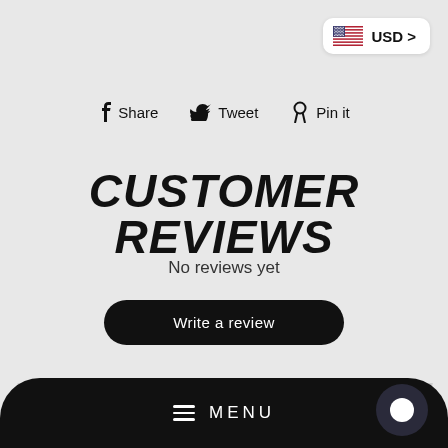[Figure (screenshot): USD currency selector button with US flag icon in top right corner]
f Share   Tweet   Pin it
CUSTOMER REVIEWS
No reviews yet
Write a review
YOU MAY ALSO LIKE
MENU